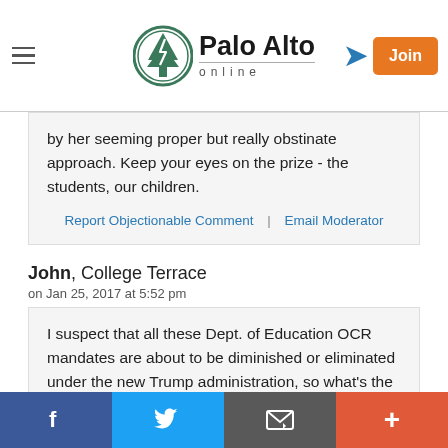Palo Alto online
by her seeming proper but really obstinate approach. Keep your eyes on the prize - the students, our children.
Report Objectionable Comment | Email Moderator
John, College Terrace
on Jan 25, 2017 at 5:52 pm
I suspect that all these Dept. of Education OCR mandates are about to be diminished or eliminated under the new Trump administration, so what's the rush to comply? Just sit it out, and see what happens.
f | Twitter | Email | +